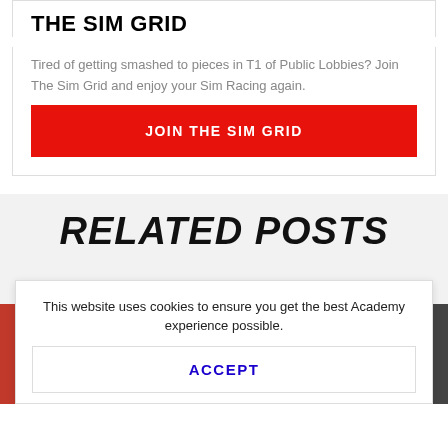THE SIM GRID
Tired of getting smashed to pieces in T1 of Public Lobbies? Join The Sim Grid and enjoy your Sim Racing again.
JOIN THE SIM GRID
RELATED POSTS
This website uses cookies to ensure you get the best Academy experience possible.
ACCEPT